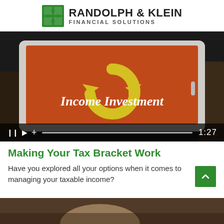RANDOLPH & KLEIN FINANCIAL SOLUTIONS
[Figure (screenshot): Video thumbnail showing a tablet with 'Income Investment' text on an orange background with a circular arrow icon. Video controls bar at bottom shows pause, play, and plus buttons with a progress bar and timestamp 1:27.]
Making Your Tax Bracket Work
Have you explored all your options when it comes to managing your taxable income?
[Figure (photo): Partial photo visible at bottom of page, cropped.]